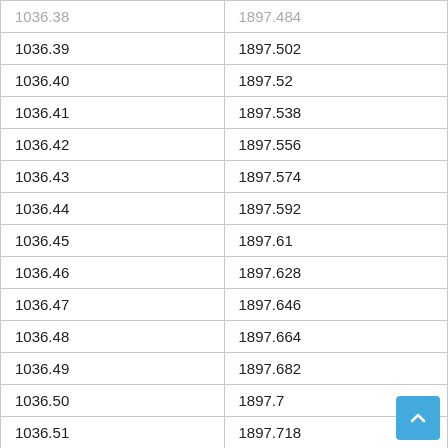|  |  |
| --- | --- |
| 1036.38 | 1897.484 |
| 1036.39 | 1897.502 |
| 1036.40 | 1897.52 |
| 1036.41 | 1897.538 |
| 1036.42 | 1897.556 |
| 1036.43 | 1897.574 |
| 1036.44 | 1897.592 |
| 1036.45 | 1897.61 |
| 1036.46 | 1897.628 |
| 1036.47 | 1897.646 |
| 1036.48 | 1897.664 |
| 1036.49 | 1897.682 |
| 1036.50 | 1897.7 |
| 1036.51 | 1897.718 |
| 1036.52 | 1897.736 |
| 1036.53 | 1897.754 |